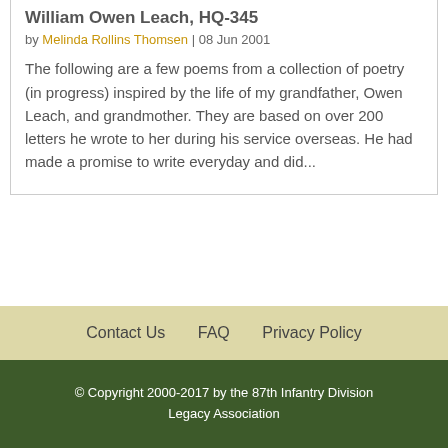William Owen Leach, HQ-345
by Melinda Rollins Thomsen | 08 Jun 2001
The following are a few poems from a collection of poetry (in progress) inspired by the life of my grandfather, Owen Leach, and grandmother. They are based on over 200 letters he wrote to her during his service overseas. He had made a promise to write everyday and did...
Contact Us   FAQ   Privacy Policy
© Copyright 2000-2017 by the 87th Infantry Division Legacy Association